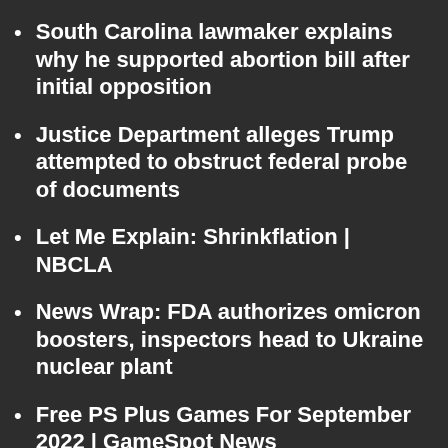South Carolina lawmaker explains why he supported abortion bill after initial opposition
Justice Department alleges Trump attempted to obstruct federal probe of documents
Let Me Explain: Shrinkflation | NBCLA
News Wrap: FDA authorizes omicron boosters, inspectors head to Ukraine nuclear plant
Free PS Plus Games For September 2022 | GameSpot News
Mikhail Gorbachev's Pizza Hut Ad Goes Viral After His Death